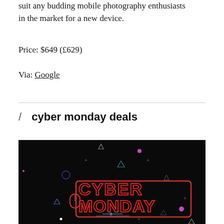suit any budding mobile photography enthusiasts in the market for a new device.
Price: $649 (£629)
Via: Google
/ cyber monday deals
[Figure (illustration): Cyber Monday promotional image with neon red text reading CYBER MONDAY on a dark background with geometric shapes and colorful dots]